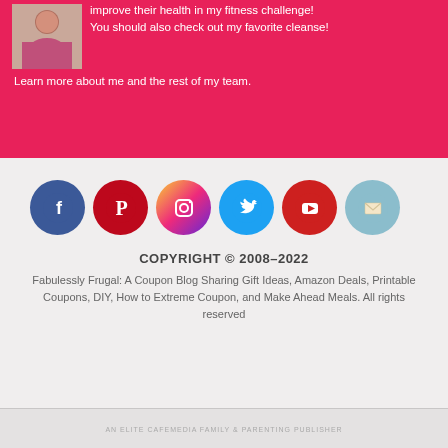improve their health in my fitness challenge! You should also check out my favorite cleanse! Learn more about me and the rest of my team.
[Figure (other): Social media icons: Facebook, Pinterest, Instagram, Twitter, YouTube, Email]
COPYRIGHT © 2008–2022
Fabulessly Frugal: A Coupon Blog Sharing Gift Ideas, Amazon Deals, Printable Coupons, DIY, How to Extreme Coupon, and Make Ahead Meals. All rights reserved
AN ELITE CAFEMEDIA FAMILY & PARENTING PUBLISHER